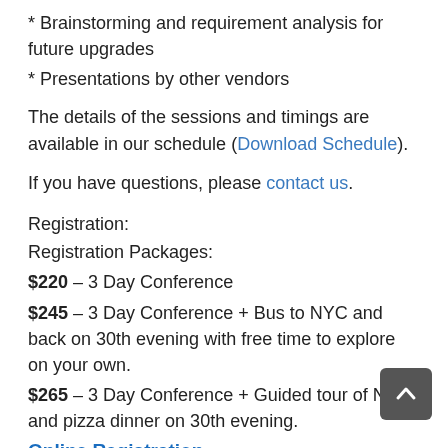* Brainstorming and requirement analysis for future upgrades
* Presentations by other vendors
The details of the sessions and timings are available in our schedule (Download Schedule).
If you have questions, please contact us.
Registration:
Registration Packages:
$220 – 3 Day Conference
$245 – 3 Day Conference + Bus to NYC and back on 30th evening with free time to explore on your own.
$265 – 3 Day Conference + Guided tour of NYC and pizza dinner on 30th evening.
Online Registration
Note: Register by January 7 for an Early Bird Discount and pay only $180/$205/$225 per attendee for the